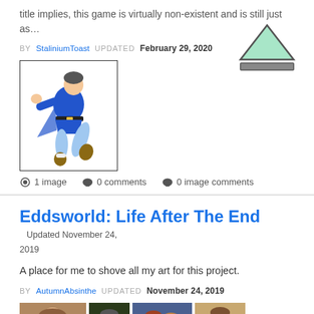title implies, this game is virtually non-existent and is still just as…
BY StaliniumToast UPDATED February 29, 2020
[Figure (illustration): Animated character in blue outfit, kicking pose]
[Figure (illustration): Eject/play button icon — triangle above a rectangle, teal/green colored]
1 image   0 comments   0 image comments
Eddsworld: Life After The End
Updated November 24, 2019
A place for me to shove all my art for this project.
BY AutumnAbsinthe UPDATED November 24, 2019
[Figure (illustration): Four small thumbnail images at the bottom of the page]